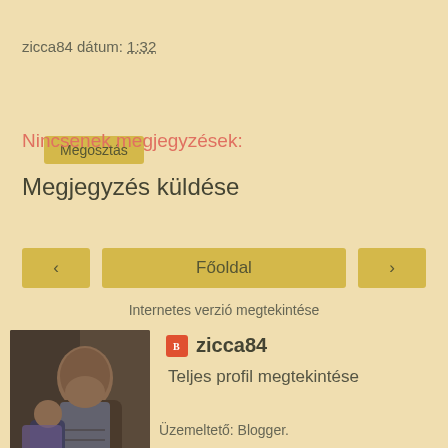zicca84 dátum: 1:32
Megosztás
Nincsenek megjegyzések:
Megjegyzés küldése
‹   Főoldal   ›
Internetes verzió megtekintése
zicca84
Teljes profil megtekintése
Üzemeltető: Blogger.